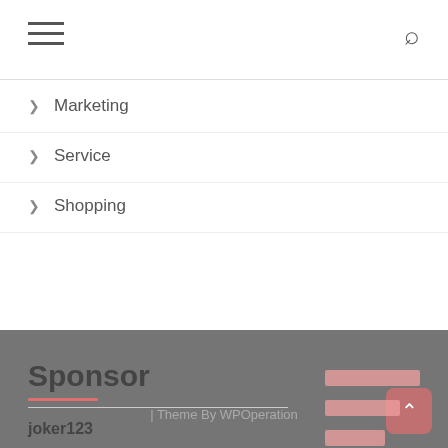Navigation header with hamburger menu and search icon
> Marketing
> Service
> Shopping
Sponsor
joker123
| Theme By WPOperation